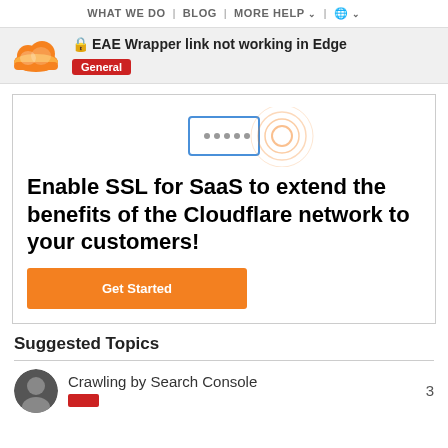WHAT WE DO | BLOG | MORE HELP | 🌐
🔒 EAE Wrapper link not working in Edge
General
[Figure (illustration): Cloudflare SSL for SaaS advertisement illustration showing a password input box and network rings]
Enable SSL for SaaS to extend the benefits of the Cloudflare network to your customers!
Get Started
Suggested Topics
Crawling by Search Console
3